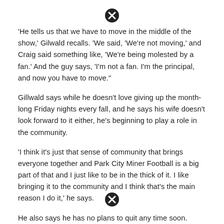[Figure (other): Close/X button icon at top center of page]
'He tells us that we have to move in the middle of the show,' Gilwald recalls. 'We said, 'We're not moving,' and Craig said something like, 'We're being molested by a fan.' And the guy says, 'I'm not a fan. I'm the principal, and now you have to move.''
Gillwald says while he doesn't love giving up the month-long Friday nights every fall, and he says his wife doesn't look forward to it either, he's beginning to play a role in the community.
'I think it's just that sense of community that brings everyone together and Park City Miner Football is a big part of that and I just like to be in the thick of it. I like bringing it to the community and I think that's the main reason I do it,' he says.
He also says he has no plans to quit any time soon.
Park City High School's Miners take on the Green Canyon Wolves on Friday. Tune in to KPCW at 91.7 or online at kpcw.org at 7 p.m. to catch the action.
[Figure (other): Close/X button icon at bottom center of page]